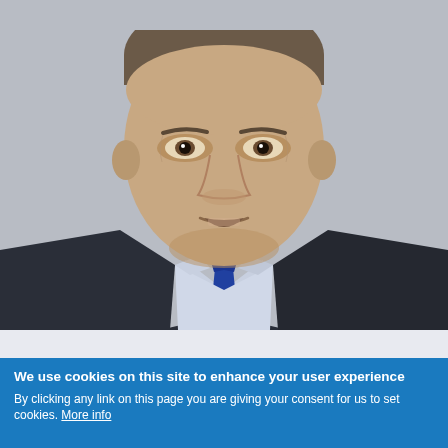[Figure (photo): Headshot of a middle-aged man in a dark suit jacket, light blue dress shirt, and blue tie, photographed against a light grey background. He is looking slightly off to the side with his mouth slightly open.]
We use cookies on this site to enhance your user experience
By clicking any link on this page you are giving your consent for us to set cookies. More info